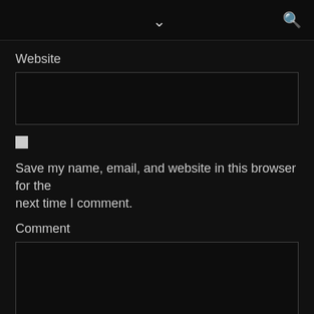▼ 🔍
Website
[Figure (screenshot): Empty text input field for Website]
[Figure (screenshot): Unchecked checkbox]
Save my name, email, and website in this browser for the next time I comment.
Comment
[Figure (screenshot): Large empty textarea for comment input with resize handle]